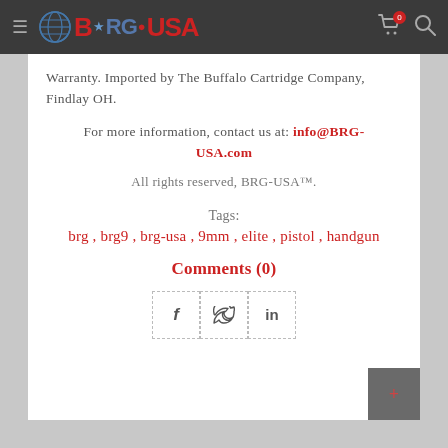BRG-USA website header with logo, cart and search icons
Warranty. Imported by The Buffalo Cartridge Company, Findlay OH.
For more information, contact us at: info@BRG-USA.com
All rights reserved, BRG-USA™.
Tags:
brg , brg9 , brg-usa , 9mm , elite , pistol , handgun
Comments (0)
[Figure (other): Social share buttons: Facebook (f), Twitter (bird), LinkedIn (in) — dashed border boxes in a row]